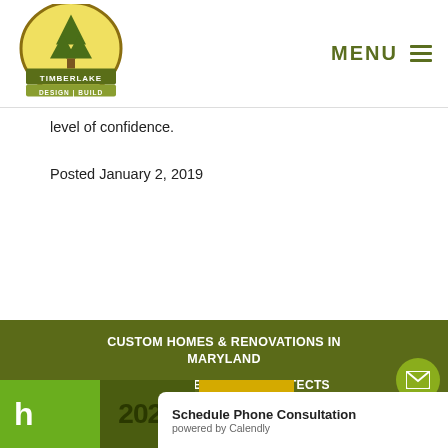Timberlake Design Build - MENU
level of confidence.
Posted January 2, 2019
CUSTOM HOMES & RENOVATIONS IN MARYLAND | BLOG | SITEMAP | ARCHITECTS | FINANCING | TERMS & CONDITIONS | PRIVACY POLICY | CONTACT
[Figure (logo): Houzz and award badges at bottom of page]
Schedule Phone Consultation powered by Calendly